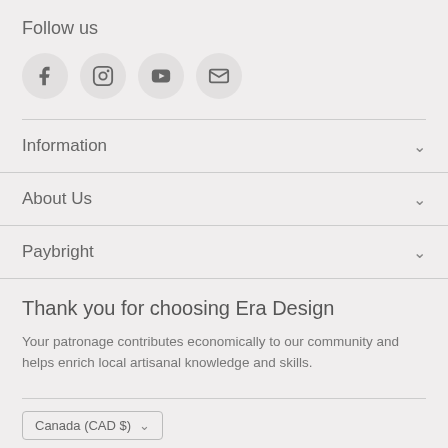Follow us
[Figure (illustration): Four social media icon circles: Facebook (f), Instagram (camera/circle logo), YouTube (play button), and email (envelope)]
Information
About Us
Paybright
Thank you for choosing Era Design
Your patronage contributes economically to our community and helps enrich local artisanal knowledge and skills.
Canada (CAD $)